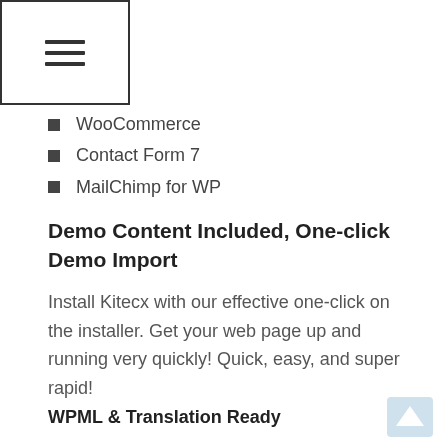☰ (hamburger menu icon)
WooCommerce
Contact Form 7
MailChimp for WP
Demo Content Included, One-click Demo Import
Install Kitecx with our effective one-click on the installer. Get your web page up and running very quickly! Quick, easy, and super rapid!
WPML & Translation Ready
Translate your internet site to any language with WPML easily! Use.Pot documents for custom translations.
Google Fonts